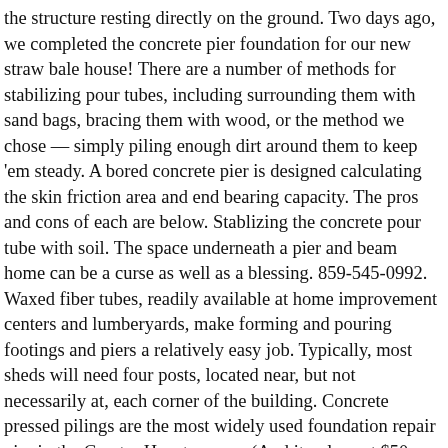the structure resting directly on the ground. Two days ago, we completed the concrete pier foundation for our new straw bale house! There are a number of methods for stabilizing pour tubes, including surrounding them with sand bags, bracing them with wood, or the method we chose — simply piling enough dirt around them to keep 'em steady. A bored concrete pier is designed calculating the skin friction area and end bearing capacity. The pros and cons of each are below. Stablizing the concrete pour tube with soil. The space underneath a pier and beam home can be a curse as well as a blessing. 859-545-0992. Waxed fiber tubes, readily available at home improvement centers and lumberyards, make forming and pouring footings and piers a relatively easy job. Typically, most sheds will need four posts, located near, but not necessarily at, each corner of the building. Concrete pressed pilings are the most widely used foundation repair pier in the Greater Houston area. (And it only cost $50, too. Concrete Slab and Pier & Beam Foundation Differences. On-grade Shed Foundations #1 Shed Foundation with Concrete Pavers. A pier is installed in anadry area by